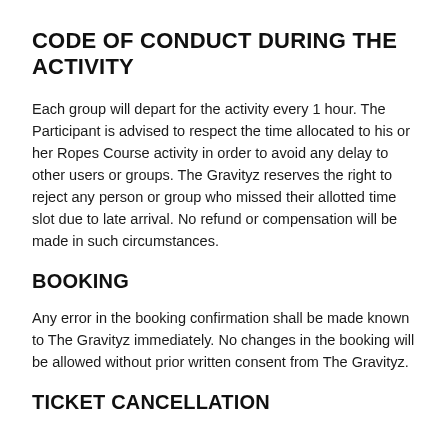CODE OF CONDUCT DURING THE ACTIVITY
Each group will depart for the activity every 1 hour. The Participant is advised to respect the time allocated to his or her Ropes Course activity in order to avoid any delay to other users or groups. The Gravityz reserves the right to reject any person or group who missed their allotted time slot due to late arrival. No refund or compensation will be made in such circumstances.
BOOKING
Any error in the booking confirmation shall be made known to The Gravityz immediately. No changes in the booking will be allowed without prior written consent from The Gravityz.
TICKET CANCELLATION